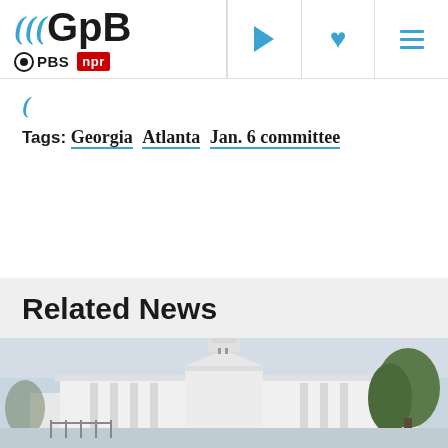GPB — PBS NPR
Tags: Georgia  Atlanta  Jan. 6 committee
Related News
[Figure (photo): Exterior view of a large white government building, likely the White House, photographed from a distance with trees visible on the right side.]